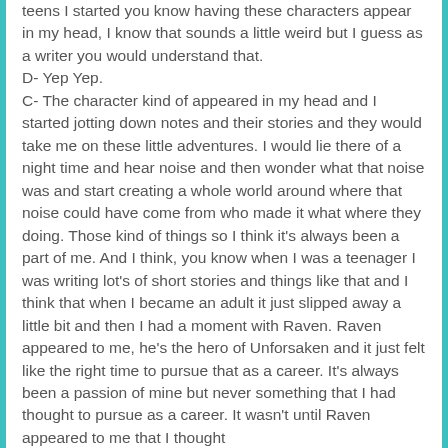teens I started you know having these characters appear in my head, I know that sounds a little weird but I guess as a writer you would understand that.
D- Yep Yep.
C- The character kind of appeared in my head and I started jotting down notes and their stories and they would take me on these little adventures. I would lie there of a night time and hear noise and then wonder what that noise was and start creating a whole world around where that noise could have come from who made it what where they doing. Those kind of things so I think it's always been a part of me. And I think, you know when I was a teenager I was writing lot's of short stories and things like that and I think that when I became an adult it just slipped away a little bit and then I had a moment with Raven. Raven appeared to me, he's the hero of Unforsaken and it just felt like the right time to pursue that as a career. It's always been a passion of mine but never something that I had thought to pursue as a career. It wasn't until Raven appeared to me that I thought